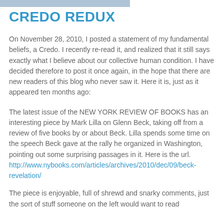SUNDAY, SEPTEMBER 25, 2011
CREDO REDUX
On November 28, 2010, I posted a statement of my fundamental beliefs, a Credo. I recently re-read it, and realized that it still says exactly what I believe about our collective human condition. I have decided therefore to post it once again, in the hope that there are new readers of this blog who never saw it. Here it is, just as it appeared ten months ago:
The latest issue of the NEW YORK REVIEW OF BOOKS has an interesting piece by Mark Lilla on Glenn Beck, taking off from a review of five books by or about Beck. Lilla spends some time on the speech Beck gave at the rally he organized in Washington, pointing out some surprising passages in it. Here is the url. http://www.nybooks.com/articles/archives/2010/dec/09/beck-revelation/
The piece is enjoyable, full of shrewd and snarky comments, just the sort of stuff someone on the left would want to read